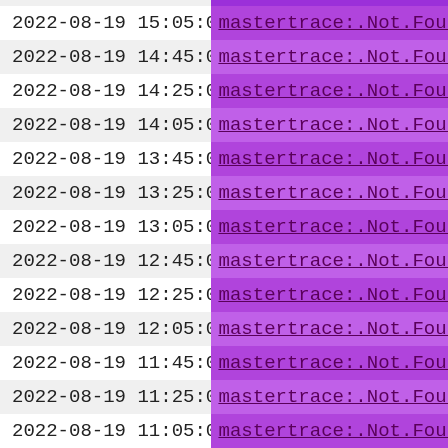| timestamp | event |
| --- | --- |
| 2022-08-19 15:05:03 | mastertrace:.Not.Found:.site |
| 2022-08-19 14:45:04 | mastertrace:.Not.Found:.site |
| 2022-08-19 14:25:03 | mastertrace:.Not.Found:.site |
| 2022-08-19 14:05:03 | mastertrace:.Not.Found:.site |
| 2022-08-19 13:45:03 | mastertrace:.Not.Found:.site |
| 2022-08-19 13:25:03 | mastertrace:.Not.Found:.site |
| 2022-08-19 13:05:03 | mastertrace:.Not.Found:.site |
| 2022-08-19 12:45:04 | mastertrace:.Not.Found:.site |
| 2022-08-19 12:25:04 | mastertrace:.Not.Found:.site |
| 2022-08-19 12:05:03 | mastertrace:.Not.Found:.site |
| 2022-08-19 11:45:04 | mastertrace:.Not.Found:.site |
| 2022-08-19 11:25:03 | mastertrace:.Not.Found:.site |
| 2022-08-19 11:05:03 | mastertrace:.Not.Found:.site |
| 2022-08-19 10:45:0… | mastertrace:.Not.Found:.site |